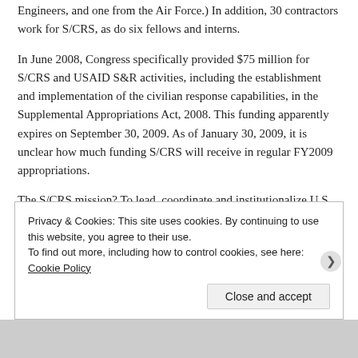Engineers, and one from the Air Force.) In addition, 30 contractors work for S/CRS, as do six fellows and interns.
In June 2008, Congress specifically provided $75 million for S/CRS and USAID S&R activities, including the establishment and implementation of the civilian response capabilities, in the Supplemental Appropriations Act, 2008. This funding apparently expires on September 30, 2009. As of January 30, 2009, it is unclear how much funding S/CRS will receive in regular FY2009 appropriations.
The S/CRS mission? To lead, coordinate and institutionalize U.S. Government civilian capacity to prevent or prepare for post-conflict situations, and to help stabilize and reconstruct societies in transition from conflict or civil strife, so they can reach a sustainable path toward peace, democracy and a market economy.
Privacy & Cookies: This site uses cookies. By continuing to use this website, you agree to their use.
To find out more, including how to control cookies, see here: Cookie Policy